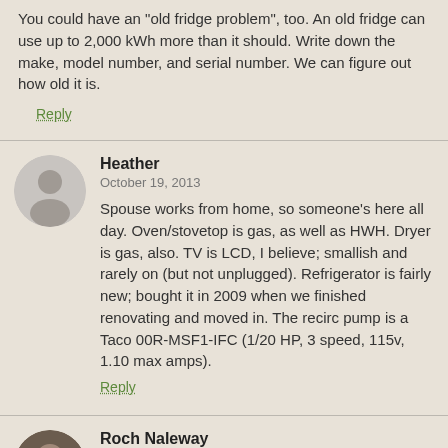You could have an "old fridge problem", too. An old fridge can use up to 2,000 kWh more than it should. Write down the make, model number, and serial number. We can figure out how old it is.
Reply
Heather
October 19, 2013
Spouse works from home, so someone's here all day. Oven/stovetop is gas, as well as HWH. Dryer is gas, also. TV is LCD, I believe; smallish and rarely on (but not unplugged). Refrigerator is fairly new; bought it in 2009 when we finished renovating and moved in. The recirc pump is a Taco 00R-MSF1-IFC (1/20 HP, 3 speed, 115v, 1.10 max amps).
Reply
Roch Naleway
October 19, 2013
Interesting...your spouse will effect your energy use at home. That's one factor, but you should